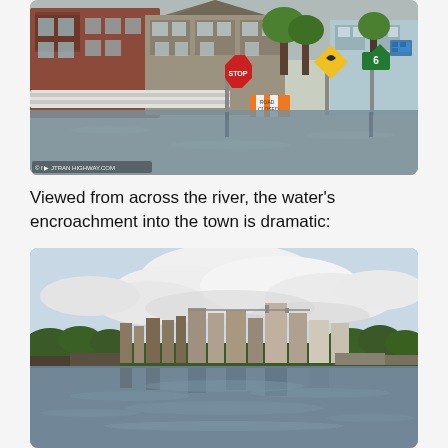[Figure (photo): Flooded street scene showing brick buildings partially submerged in floodwater, with road signs including a yellow curve warning sign and a green highway sign, white flood barriers visible near buildings, and trees in the background. Copyright watermark at bottom left reads facebook/JTRAN HIGHWAY.COM]
Viewed from across the river, the water's encroachment into the town is dramatic:
[Figure (photo): View from across a wide river showing flooded town with grain elevators and industrial buildings in the middle distance, reflected in the high floodwaters. Cloudy sky with cumulus clouds above.]